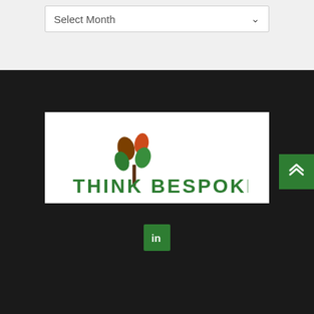Select Month
[Figure (logo): Think Bespoke logo — a stylized tree with brown, orange, and green oval leaves above a brown trunk, with the text THINK BESPOKE in dark green capital letters]
[Figure (logo): LinkedIn icon — white 'in' letters on a green square background]
[Figure (other): Scroll-to-top button — green square with double upward chevron arrows in white]